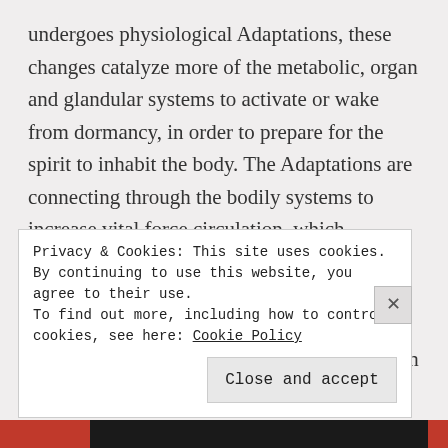undergoes physiological Adaptations, these changes catalyze more of the metabolic, organ and glandular systems to activate or wake from dormancy, in order to prepare for the spirit to inhabit the body. The Adaptations are connecting through the bodily systems to increase vital force circulation, which facilitates connection into the spiritual-energetic circuitry. Many energetic circuits and meridians on the planet have been disconnected or damaged. As a result the main
Privacy & Cookies: This site uses cookies. By continuing to use this website, you agree to their use.
To find out more, including how to control cookies, see here: Cookie Policy
Close and accept